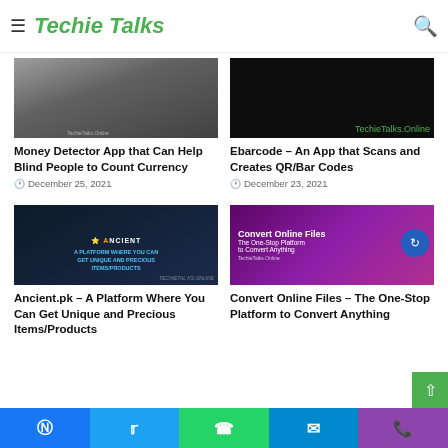Techie Talks
[Figure (photo): Photo of a person's hands holding money, related to Money Detector App article]
Money Detector App that Can Help Blind People to Count Currency
December 25, 2021
[Figure (photo): Dark background with TechieTalks.Online text and Ebarcode branding]
Ebarcode – An App that Scans and Creates QR/Bar Codes
December 23, 2021
[Figure (photo): Ancient.pk platform promotional image with text: A PLATFORM WHERE YOU CAN GET UNIQUE AND PRECIOUS ITEMS/PRODUCTS]
Ancient.pk – A Platform Where You Can Get Unique and Precious Items/Products
[Figure (photo): Convert Online Files – The One-Stop Platform to Convert Anything promotional image]
Convert Online Files – The One-Stop Platform to Convert Anything
Facebook Twitter WhatsApp Telegram Phone